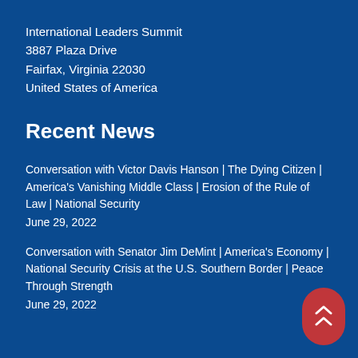International Leaders Summit
3887 Plaza Drive
Fairfax, Virginia 22030
United States of America
Recent News
Conversation with Victor Davis Hanson | The Dying Citizen | America's Vanishing Middle Class | Erosion of the Rule of Law | National Security
June 29, 2022
Conversation with Senator Jim DeMint | America's Economy | National Security Crisis at the U.S. Southern Border | Peace Through Strength
June 29, 2022